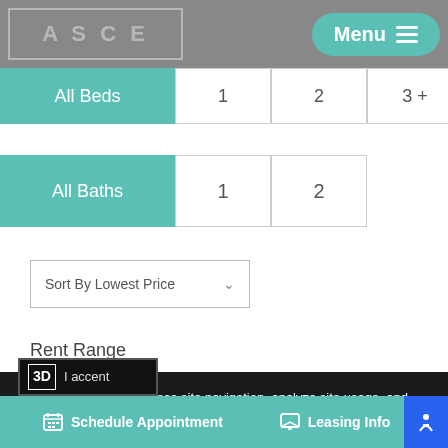[Figure (screenshot): Top navigation bar with logo placeholder showing 'ASCE' text in a bordered box and a teal 'Menu' button with hamburger icon on the right, set against a gray background.]
All Beds (active/selected filter button, teal)
1 (bed filter button)
2 (bed filter button)
3+ (bed filter button)
All Baths (active/selected filter button, teal)
1 (bath filter button)
2 (bath filter button)
Sort By Lowest Price
Rent Range
We use cookies to enhance site navigation, analyze site usage, and assist in our marketing efforts, including personalizing content and advertising. Learn more about how we process your personal data, including cookies, by reading our Privacy Statement. Learn more
Schedule Appointment
Leasing Info